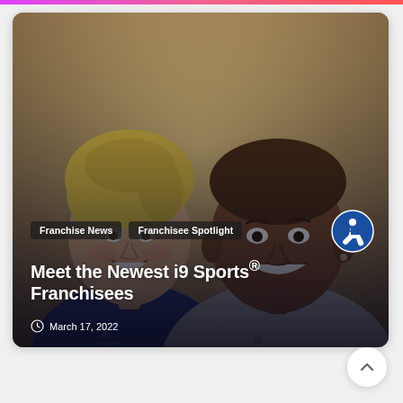[Figure (photo): Two smiling people wearing i9 Sports branded clothing - a blonde woman on the left and a man on the right - posed together for a photo]
Franchise News
Franchisee Spotlight
Meet the Newest i9 Sports® Franchisees
March 17, 2022